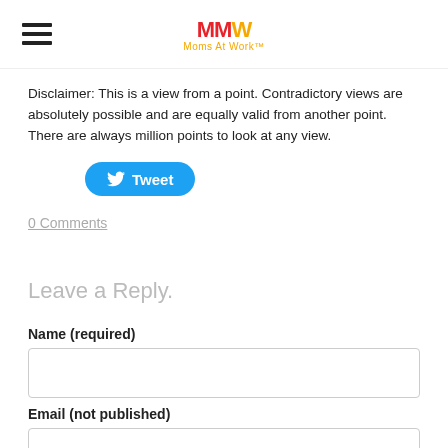Moms At Work
Disclaimer: This is a view from a point. Contradictory views are absolutely possible and are equally valid from another point. There are always million points to look at any view.
[Figure (other): Twitter Tweet button, blue rounded pill shape with bird icon and 'Tweet' text]
0 Comments
Leave a Reply.
Name (required)
Email (not published)